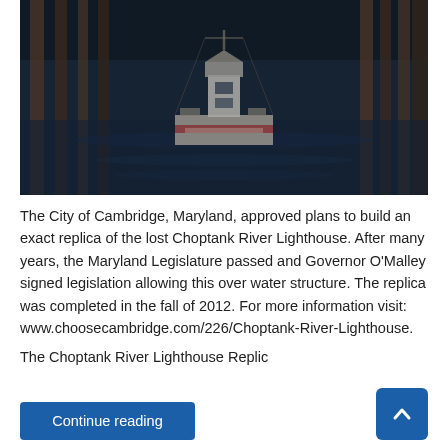[Figure (photo): Photograph of a lighthouse reflected in dark water, with wooden dock pilings visible. The image shows a harbor scene at dusk or night with a lighthouse structure reflected upside-down in the still water.]
The City of Cambridge, Maryland, approved plans to build an exact replica of the lost Choptank River Lighthouse. After many years, the Maryland Legislature passed and Governor O'Malley signed legislation allowing this over water structure. The replica was completed in the fall of 2012. For more information visit: www.choosecambridge.com/226/Choptank-River-Lighthouse. The Choptank River Lighthouse Replica